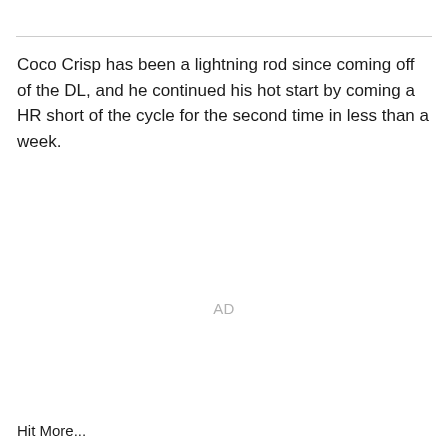Coco Crisp has been a lightning rod since coming off of the DL, and he continued his hot start by coming a HR short of the cycle for the second time in less than a week.
AD
Hit More...